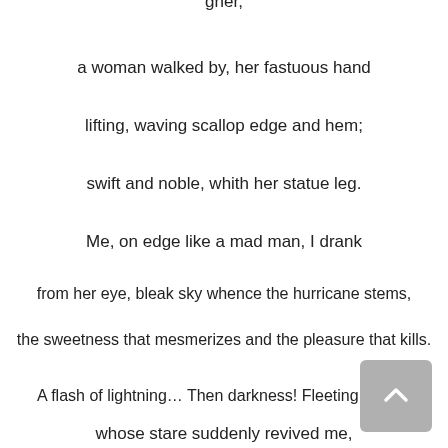gher,
a woman walked by, her fastuous hand
lifting, waving scallop edge and hem;
swift and noble, whith her statue leg.
Me, on edge like a mad man, I drank
from her eye, bleak sky whence the hurricane stems,
the sweetness that mesmerizes and the pleasure that kills.
A flash of lightning… Then darkness! Fleeting beauty
whose stare suddenly revived me,